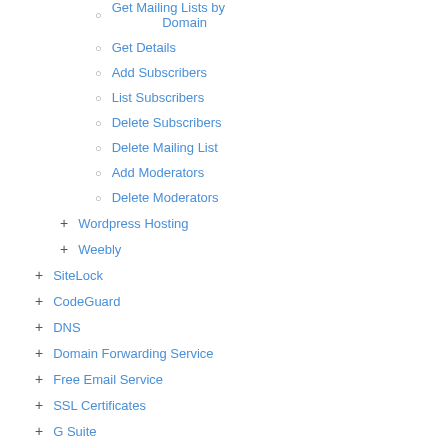Get Mailing Lists by Domain
Get Details
Add Subscribers
List Subscribers
Delete Subscribers
Delete Mailing List
Add Moderators
Delete Moderators
Wordpress Hosting
Weebly
SiteLock
CodeGuard
DNS
Domain Forwarding Service
Free Email Service
SSL Certificates
G Suite
Combo Plans